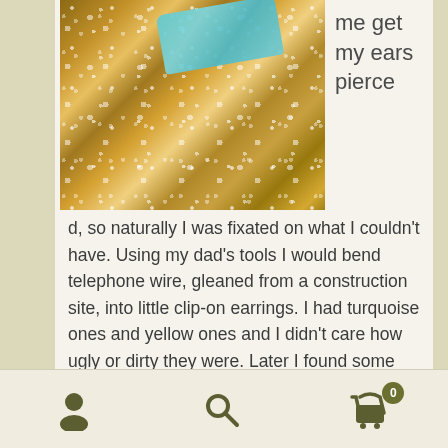[Figure (photo): Close-up photo of sparkling golden-brown mineral/glitter texture with a turquoise blue earring or gemstone visible at top]
me get my ears pierced, so naturally I was fixated on what I couldn't have. Using my dad's tools I would bend telephone wire, gleaned from a construction site, into little clip-on earrings.  I had turquoise ones and yellow ones and I didn't care how ugly or dirty they were.  Later I found some kidney-wire earrings at a craft store and clipped them upside-down to my lobes because it looked like the end of the wire was going into my ear like a real earring.  Hot stuff!  Add to the mix my great aunt, who mined and polished her own stones and got me interested in rock tumbling, and I was a full-on jewelry...
[Figure (illustration): Bottom navigation bar with user/profile icon, search icon, and shopping cart icon with badge showing 0]